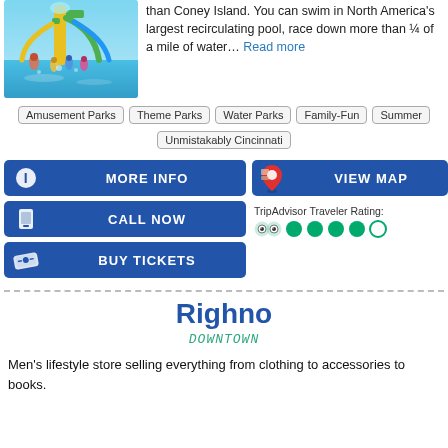[Figure (photo): Water park photo with colorful slides and children playing in water]
than Coney Island. You can swim in North America's largest recirculating pool, race down more than ¼ of a mile of water… Read more
Amusement Parks
Theme Parks
Water Parks
Family-Fun
Summer
Unmistakably Cincinnati
MORE INFO
VIEW MAP
CALL NOW
TripAdvisor Traveler Rating:
BUY TICKETS
Righno
DOWNTOWN
Men's lifestyle store selling everything from clothing to accessories to books.